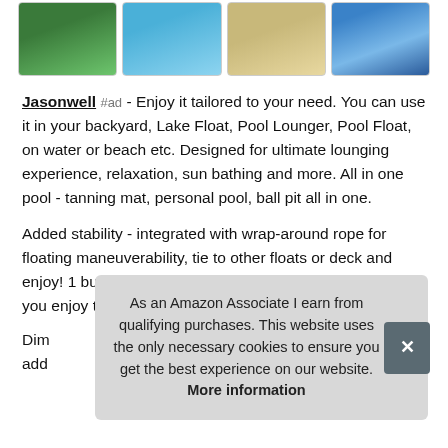[Figure (photo): Four thumbnail photos of pool floats/loungers: green grass background, blue pool water, sandy beach, and teal inflatable with cup holder]
Jasonwell #ad - Enjoy it tailored to your need. You can use it in your backyard, Lake Float, Pool Lounger, Pool Float, on water or beach etc. Designed for ultimate lounging experience, relaxation, sun bathing and more. All in one pool - tanning mat, personal pool, ball pit all in one.
Added stability - integrated with wrap-around rope for floating maneuverability, tie to other floats or deck and enjoy! 1 built in cup holders - Have beverages close as you enjoy the sun tanning or floating.
Dim add
As an Amazon Associate I earn from qualifying purchases. This website uses the only necessary cookies to ensure you get the best experience on our website. More information